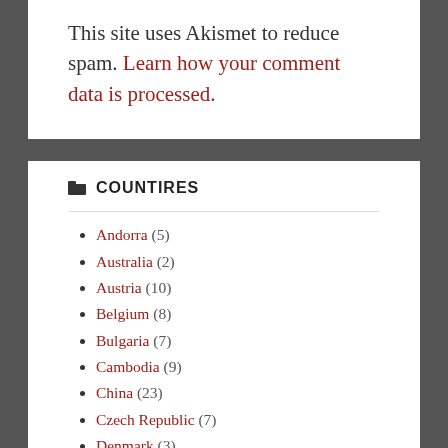This site uses Akismet to reduce spam. Learn how your comment data is processed.
COUNTIRES
Andorra (5)
Australia (2)
Austria (10)
Belgium (8)
Bulgaria (7)
Cambodia (9)
China (23)
Czech Republic (7)
Denmark (3)
Egypt (14)
England (23)
Finland (7)
France (36)
Germany (18)